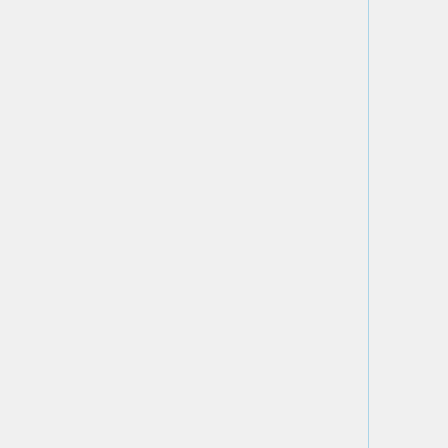| Time | Event | Room |
| --- | --- | --- |
| a.m. |  |  |
| 10:30 a.m. |  |  |
| 11:00 a.m. | Mark Urban | BioPharm 200A |
| 11:30 a.m. |  |  |
| 12:00 p.m. | Graduate students lunch | Rm 314 |
| 1:00 p.m. |  |  |
| 1:30 p.m. |  |  |